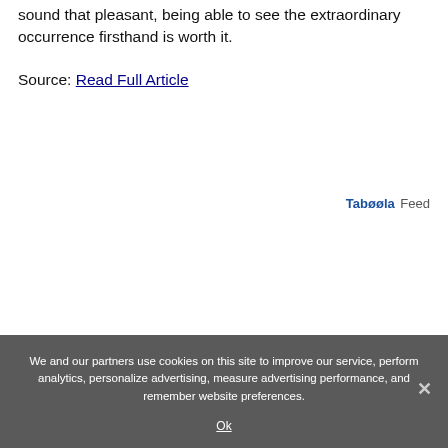sound that pleasant, being able to see the extraordinary occurrence firsthand is worth it.
Source: Read Full Article
[Figure (logo): Taboola Feed logo in blue and grey text]
We and our partners use cookies on this site to improve our service, perform analytics, personalize advertising, measure advertising performance, and remember website preferences.
Ok